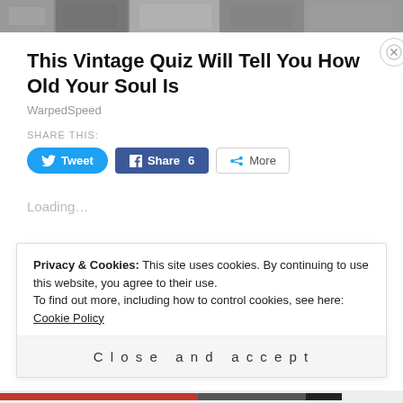[Figure (photo): Horizontal strip of vintage/monochrome photos at top of page]
This Vintage Quiz Will Tell You How Old Your Soul Is
WarpedSpeed
SHARE THIS:
[Figure (screenshot): Tweet button (blue rounded), Share 6 button (blue Facebook), More button (outlined)]
Loading...
RELATED
Privacy & Cookies: This site uses cookies. By continuing to use this website, you agree to their use.
To find out more, including how to control cookies, see here: Cookie Policy
Close and accept